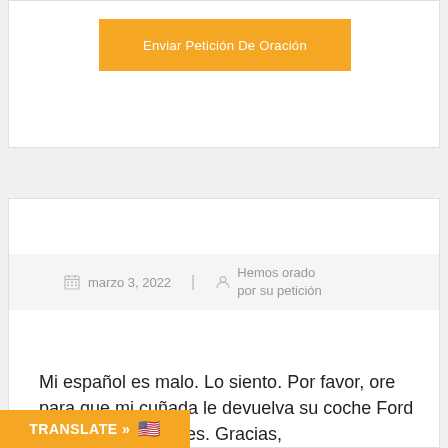[Figure (other): Orange button labeled 'Enviar Petición De Oración']
marzo 3, 2022  |  Hemos orado por su petición
Mi español es malo. Lo siento. Por favor, ore para que mi cuñada le devuelva su coche Ford Explorer de ladrones. Gracias,
TRANSLATE »